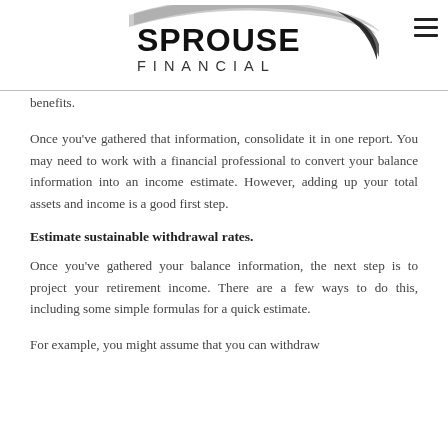Sprouse Financial
benefits.
Once you've gathered that information, consolidate it in one report. You may need to work with a financial professional to convert your balance information into an income estimate. However, adding up your total assets and income is a good first step.
Estimate sustainable withdrawal rates.
Once you've gathered your balance information, the next step is to project your retirement income. There are a few ways to do this, including some simple formulas for a quick estimate.
For example, you might assume that you can withdraw